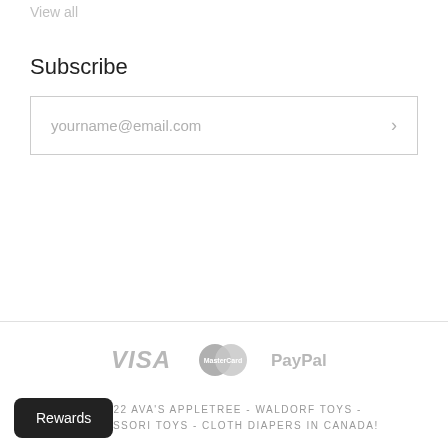View all
Subscribe
yourname@email.com
[Figure (logo): Payment method logos: VISA, MasterCard, PayPal displayed in gray]
© 2022 AVA'S APPLETREE - WALDORF TOYS - MONTESSORI TOYS - CLOTH DIAPERS IN CANADA!
SITEMAP
Rewards